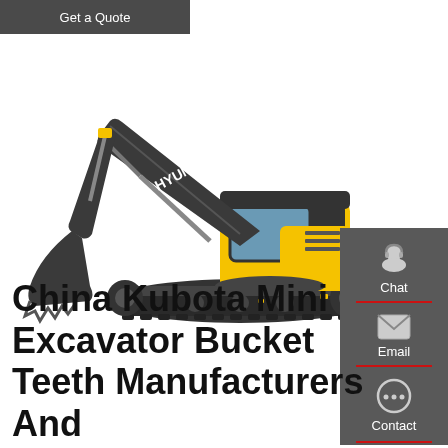[Figure (screenshot): Get a Quote button - dark grey rectangle with white text]
[Figure (photo): Hyundai mini excavator with yellow cab body and dark grey boom arm, shown on white background with HYUNDAI branding visible]
[Figure (screenshot): Side panel with Chat, Email, and Contact icons and labels on dark grey background with red dividers]
China Kubota Mini Excavator Bucket Teeth Manufacturers And